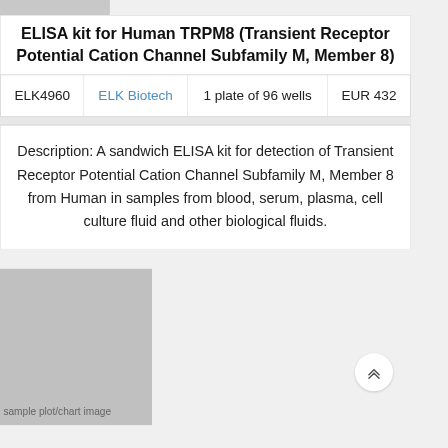ELISA kit for Human TRPM8 (Transient Receptor Potential Cation Channel Subfamily M, Member 8)
|  | Supplier | Size | Price |
| --- | --- | --- | --- |
| ELK4960 | ELK Biotech | 1 plate of 96 wells | EUR 432 |
Description: A sandwich ELISA kit for detection of Transient Receptor Potential Cation Channel Subfamily M, Member 8 from Human in samples from blood, serum, plasma, cell culture fluid and other biological fluids.
[Figure (other): Bottom section showing a gray chart image area on the left and a scroll-up button on the right against a light gray background]